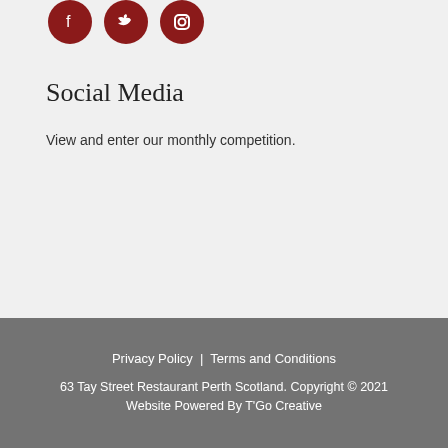[Figure (illustration): Three circular dark red social media icons (Facebook, Twitter, Instagram) in a row at the top]
Social Media
View and enter our monthly competition.
Privacy Policy | Terms and Conditions
63 Tay Street Restaurant Perth Scotland. Copyright © 2021
Website Powered By T'Go Creative